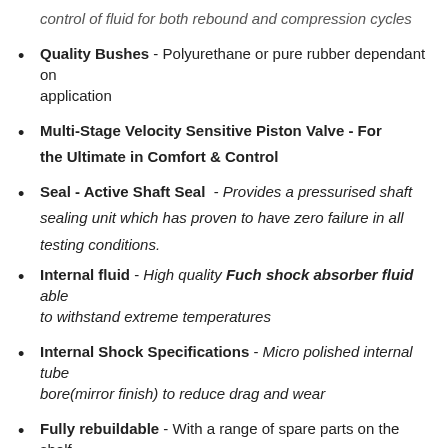control of fluid for both rebound and compression cycles
Quality Bushes - Polyurethane or pure rubber dependant on application
Multi-Stage Velocity Sensitive Piston Valve - For the Ultimate in Comfort & Control
Seal - Active Shaft Seal - Provides a pressurised shaft sealing unit which has proven to have zero failure in all testing conditions.
Internal fluid - High quality Fuch shock absorber fluid able to withstand extreme temperatures
Internal Shock Specifications - Micro polished internal tube bore(mirror finish) to reduce drag and wear
Fully rebuildable - With a range of spare parts on the shelf for full Australian Support.
Nitrogen Gas Charged - to prevent fade and